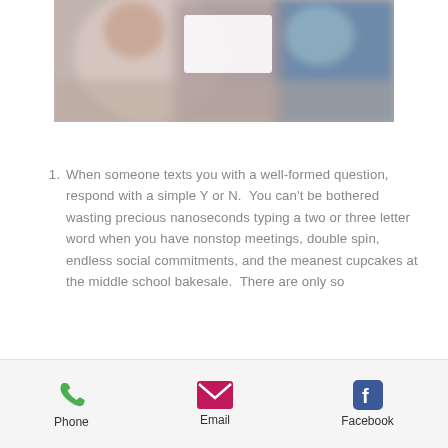[Figure (photo): Blurred photo of people, partially obscured with a white rectangle overlay]
When someone texts you with a well-formed question, respond with a simple Y or N.  You can't be bothered wasting precious nanoseconds typing a two or three letter word when you have nonstop meetings, double spin, endless social commitments, and the meanest cupcakes at the middle school bakesale.  There are only so
Phone  Email  Facebook